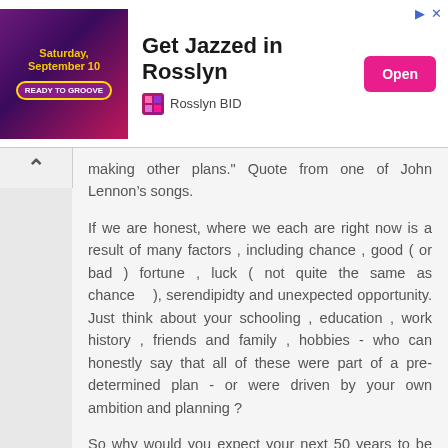[Figure (infographic): Advertisement banner for 'Get Jazzed in Rosslyn' event on Saturday, September 10, with purple/pink gradient image showing 'READY TO GROOVE', an Open button, and Rosslyn BID sponsor logo.]
making other plans." Quote from one of John Lennon's songs.
If we are honest, where we each are right now is a result of many factors , including chance , good ( or bad ) fortune , luck ( not quite the same as chance ), serendipidty and unexpected opportunity. Just think about your schooling , education , work history , friends and family , hobbies - who can honestly say that all of these were part of a pre-determined plan - or were driven by your own ambition and planning ?
So why would you expect your next 50 years to be unaffected by all of the above - and solely determined by your plans ? Who are you deluding ?